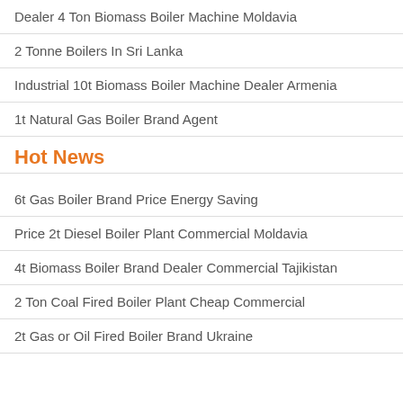Dealer 4 Ton Biomass Boiler Machine Moldavia
2 Tonne Boilers In Sri Lanka
Industrial 10t Biomass Boiler Machine Dealer Armenia
1t Natural Gas Boiler Brand Agent
Hot News
6t Gas Boiler Brand Price Energy Saving
Price 2t Diesel Boiler Plant Commercial Moldavia
4t Biomass Boiler Brand Dealer Commercial Tajikistan
2 Ton Coal Fired Boiler Plant Cheap Commercial
2t Gas or Oil Fired Boiler Brand Ukraine